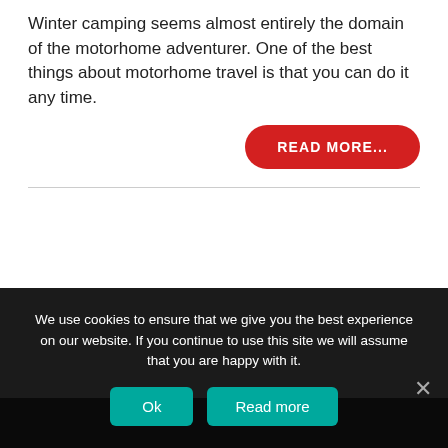Winter camping seems almost entirely the domain of the motorhome adventurer. One of the best things about motorhome travel is that you can do it any time.
READ MORE...
We use cookies to ensure that we give you the best experience on our website. If you continue to use this site we will assume that you are happy with it.
Ok
Read more